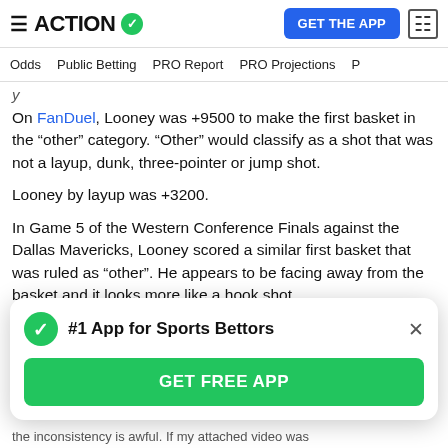ACTION (logo with green checkmark) | GET THE APP
Odds | Public Betting | PRO Report | PRO Projections
On FanDuel, Looney was +9500 to make the first basket in the “other” category. “Other” would classify as a shot that was not a layup, dunk, three-pointer or jump shot.
Looney by layup was +3200.
In Game 5 of the Western Conference Finals against the Dallas Mavericks, Looney scored a similar first basket that was ruled as “other”. He appears to be facing away from the basket and it looks more like a hook shot.
[Figure (screenshot): Popup banner: '#1 App for Sports Bettors' with green checkmark icon, close X button, and green 'GET FREE APP' button]
the inconsistency is awful. If my attached video was